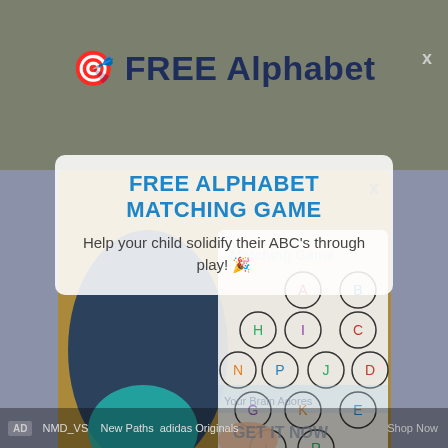🎯 FREE Alphabet
[Figure (photo): Child lying down working on an alphabet matching game worksheet with circles containing letters]
Matching Game
GET IT NOW
FREE ALPHABET MATCHING GAME
Help your child solidify their ABC's through play! 🎉
AD  NMD_VS  New Paths  adidas Originals  Shop Now